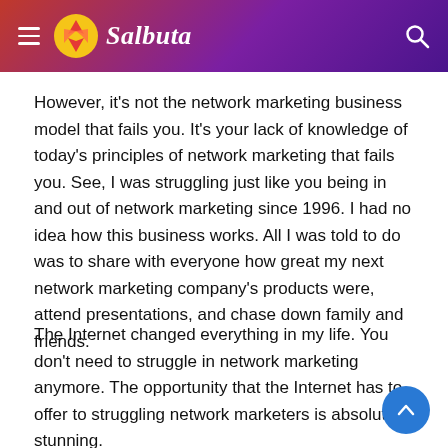Salbuta
However, it’s not the network marketing business model that fails you. It’s your lack of knowledge of today’s principles of network marketing that fails you. See, I was struggling just like you being in and out of network marketing since 1996. I had no idea how this business works. All I was told to do was to share with everyone how great my next network marketing company’s products were, attend presentations, and chase down family and friends.
The Internet changed everything in my life. You don’t need to struggle in network marketing anymore. The opportunity that the Internet has to offer to struggling network marketers is absolutely stunning.